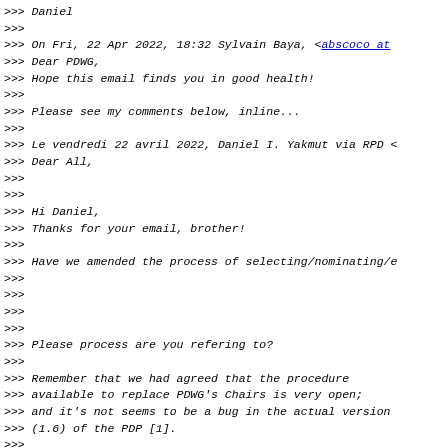>>> Daniel
>>>
>>> On Fri, 22 Apr 2022, 18:32 Sylvain Baya, <abscoco at
>>> Dear PDWG,
>>> Hope this email finds you in good health!
>>>
>>> Please see my comments below, inline...
>>>
>>> Le vendredi 22 avril 2022, Daniel I. Yakmut via RPD <
>>> Dear All,
>>>
>>>
>>> Hi Daniel,
>>> Thanks for your email, brother!
>>>
>>> Have we amended the process of selecting/nominating/e
>>>
>>>
>>>
>>>
>>> Please process are you refering to?
>>>
>>> Remember that we had agreed that the procedure
>>> available to replace PDWG's Chairs is very open;
>>> and it's not seems to be a bug in the actual version
>>>  (1.6) of the PDP [1].
>>>
>>> [1]: <https://afrinic.net/policy/manual/amp#PDP-Proce
>>>
>>> As you know, the appropriate words are: *choose*,
>>> *nominate*, *select*, *selection*; and each of these